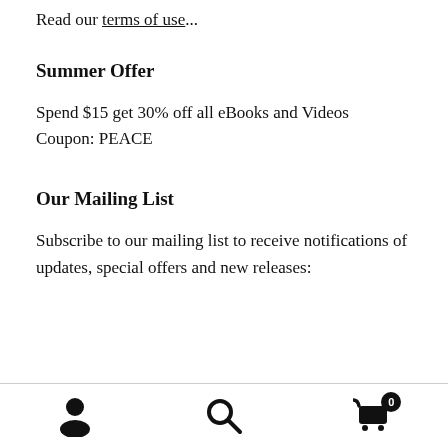Read our terms of use...
Summer Offer
Spend $15 get 30% off all eBooks and Videos
Coupon: PEACE
Our Mailing List
Subscribe to our mailing list to receive notifications of updates, special offers and new releases: